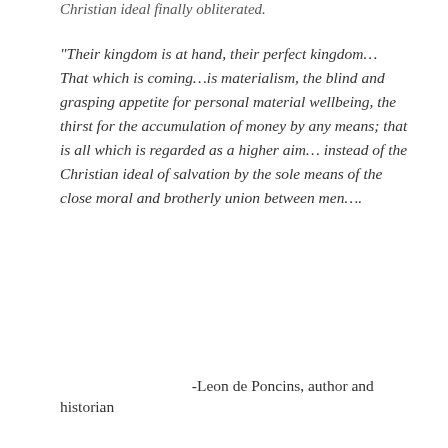Christian ideal finally obliterated.
“Their kingdom is at hand, their perfect kingdom… That which is coming…is materialism, the blind and grasping appetite for personal material wellbeing, the thirst for the accumulation of money by any means; that is all which is regarded as a higher aim… instead of the Christian ideal of salvation by the sole means of the close moral and brotherly union between men….
-Leon de Poncins, author and historian